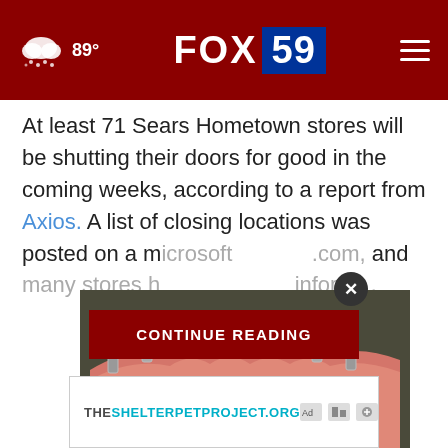FOX 59 — 89°
At least 71 Sears Hometown stores will be shutting their doors for good in the coming weeks, according to a report from Axios. A list of closing locations was posted on a m[…].com, and many stores h[…]inform…
[Figure (screenshot): CONTINUE READING button overlay in dark red]
[Figure (photo): Close-up photo of dental implant prosthesis showing pink gum material with metal implant posts and white teeth, taken against a dark background]
[Figure (other): Advertisement banner: THESHELTERPETPROJECT.ORG with ad choice icons]